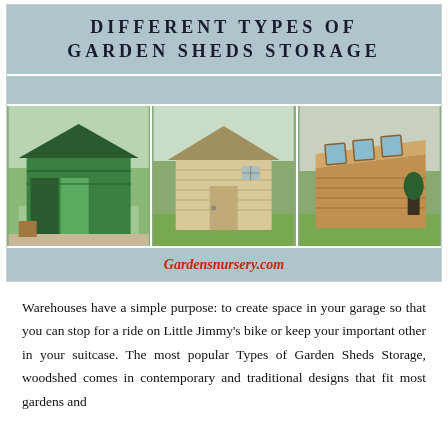DIFFERENT TYPES OF GARDEN SHEDS STORAGE
[Figure (photo): Three photos of garden sheds side by side: a green metal shed with open doors, a beige plastic/vinyl shed, and a wood shed with slanted skylight roof panels. Below the photos is the URL: Gardensnursery.com]
Warehouses have a simple purpose: to create space in your garage so that you can stop for a ride on Little Jimmy's bike or keep your important other in your suitcase. The most popular Types of Garden Sheds Storage, woodshed comes in contemporary and traditional designs that fit most gardens and